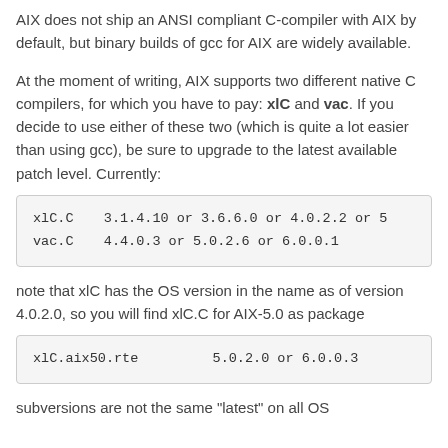AIX does not ship an ANSI compliant C-compiler with AIX by default, but binary builds of gcc for AIX are widely available.
At the moment of writing, AIX supports two different native C compilers, for which you have to pay: xlC and vac. If you decide to use either of these two (which is quite a lot easier than using gcc), be sure to upgrade to the latest available patch level. Currently:
| xlC.C | 3.1.4.10 or 3.6.6.0 or 4.0.2.2 or 5 |
| vac.C | 4.4.0.3  or 5.0.2.6 or 6.0.0.1 |
note that xlC has the OS version in the name as of version 4.0.2.0, so you will find xlC.C for AIX-5.0 as package
| xlC.aix50.rte | 5.0.2.0 or 6.0.0.3 |
subversions are not the same "latest" on all OS